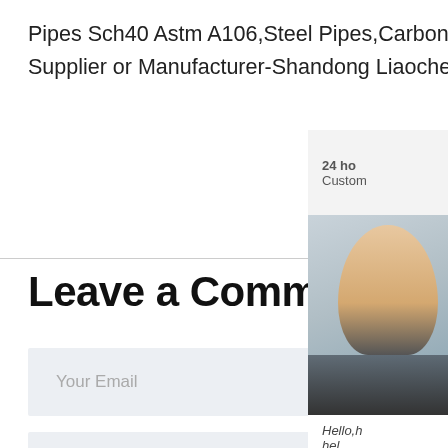Pipes Sch40 Astm A106,Steel Pipes,Carbon Steel Pipe from Steel Pipes Supplier or Manufacturer-Shandong Liaocheng Yizhong sp.info
Leave a Comment
[Figure (screenshot): Chat widget overlay showing customer support panel with headset icon, phone icon, Skype icon, and a Chat Now button. Partial face of a customer support agent is visible.]
Your Email
Your Name